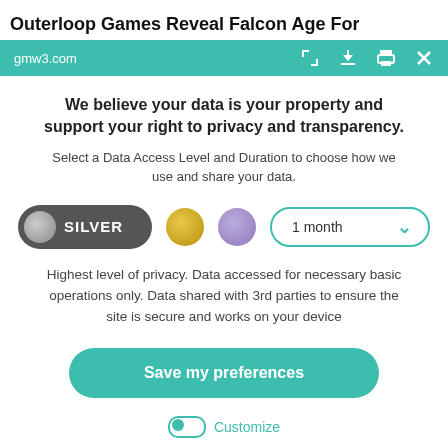Outerloop Games Reveal Falcon Age For
gmw3.com
We believe your data is your property and support your right to privacy and transparency.
Select a Data Access Level and Duration to choose how we use and share your data.
[Figure (infographic): Data access level selector showing SILVER pill button (selected, dark grey background with silver circle icon), gold circle option, purple circle option, and a '1 month' dropdown selector with teal border and chevron arrow]
Highest level of privacy. Data accessed for necessary basic operations only. Data shared with 3rd parties to ensure the site is secure and works on your device
Save my preferences
Customize